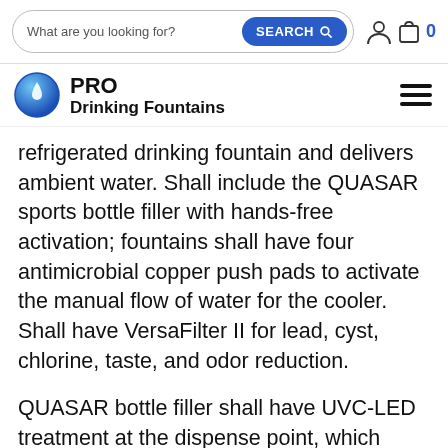What are you looking for? SEARCH [icon] [user icon] [cart icon] 0
[Figure (logo): PRO Drinking Fountains logo with blue water drop icon]
refrigerated drinking fountain and delivers ambient water. Shall include the QUASAR sports bottle filler with hands-free activation; fountains shall have four antimicrobial copper push pads to activate the manual flow of water for the cooler. Shall have VersaFilter II for lead, cyst, chlorine, taste, and odor reduction.
QUASAR bottle filler shall have UVC-LED treatment at the dispense point, which disinfects the water while it is